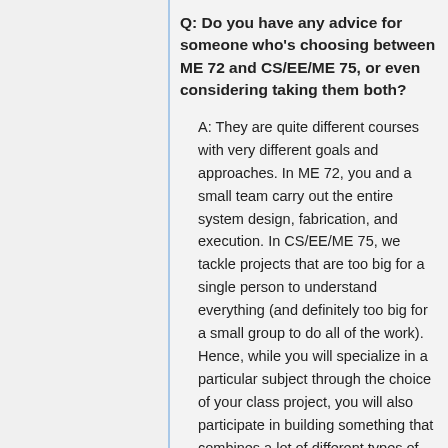Q: Do you have any advice for someone who's choosing between ME 72 and CS/EE/ME 75, or even considering taking them both?
A: They are quite different courses with very different goals and approaches. In ME 72, you and a small team carry out the entire system design, fabrication, and execution. In CS/EE/ME 75, we tackle projects that are too big for a single person to understand everything (and definitely too big for a small group to do all of the work). Hence, while you will specialize in a particular subject through the choice of your class project, you will also participate in building something that combines a lot of different types of technologies. You might want to